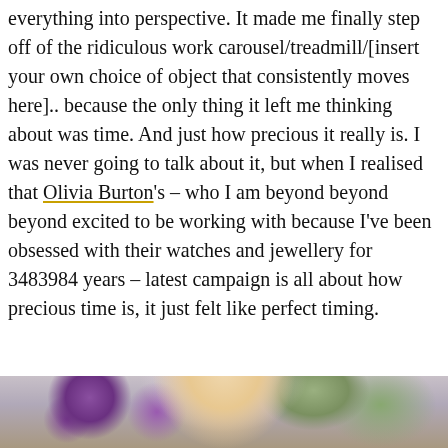everything into perspective. It made me finally step off of the ridiculous work carousel/treadmill/[insert your own choice of object that consistently moves here].. because the only thing it left me thinking about was time. And just how precious it really is. I was never going to talk about it, but when I realised that Olivia Burton's – who I am beyond beyond beyond excited to be working with because I've been obsessed with their watches and jewellery for 3483984 years – latest campaign is all about how precious time is, it just felt like perfect timing.
[Figure (photo): Bottom portion of a photograph showing a blonde woman outdoors with purple and green blurred floral background]